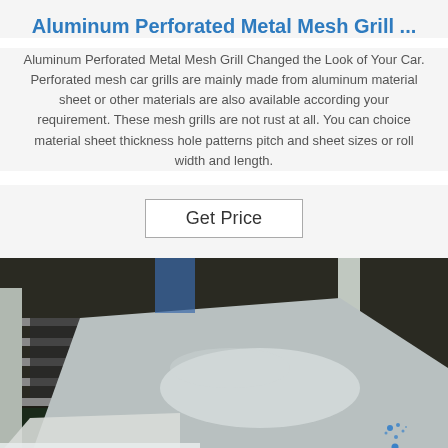Aluminum Perforated Metal Mesh Grill ...
Aluminum Perforated Metal Mesh Grill Changed the Look of Your Car. Perforated mesh car grills are mainly made from aluminum material sheet or other materials are also available according your requirement. These mesh grills are not rust at all. You can choice material sheet thickness hole patterns pitch and sheet sizes or roll width and length.
[Figure (other): Button labeled 'Get Price' with a rectangular border]
[Figure (photo): Industrial photo showing aluminum perforated metal mesh sheet being processed on a manufacturing line, with metal shelving racks and yellow-striped floor visible in background, and a 'TOP' watermark logo in the lower right corner.]